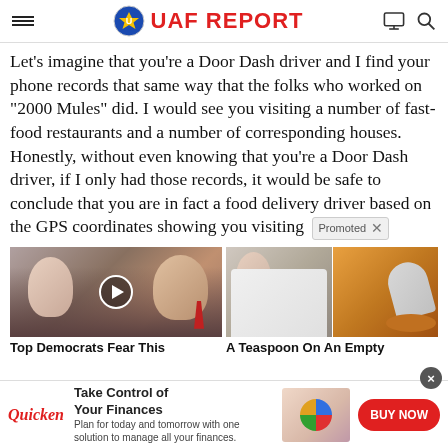UAF REPORT
Let’s imagine that you’re a Door Dash driver and I find your phone records that same way that the folks who worked on “2000 Mules” did. I would see you visiting a number of fast-food restaurants and a number of corresponding houses. Honestly, without even knowing that you’re a Door Dash driver, if I only had those records, it would be safe to conclude that you are in fact a food delivery driver based on the GPS coordinates showing you visiting
[Figure (photo): Two people thumbnail with play button overlay (video thumbnail)]
Top Democrats Fear This
[Figure (photo): Woman and spice/powder photo]
A Teaspoon On An Empty
Quicken — Take Control of Your Finances. Plan for today and tomorrow with one solution to manage all your finances. BUY NOW